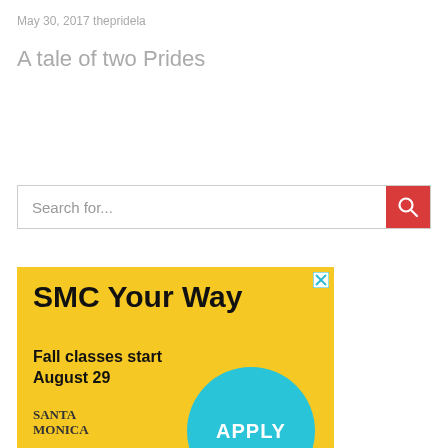May 30, 2017 thepridela
A tale of two Prides
Search for...
[Figure (screenshot): Advertisement for Santa Monica College: 'SMC Your Way — Fall classes start August 29' on yellow background with teal APPLY circle and Santa Monica College logo]